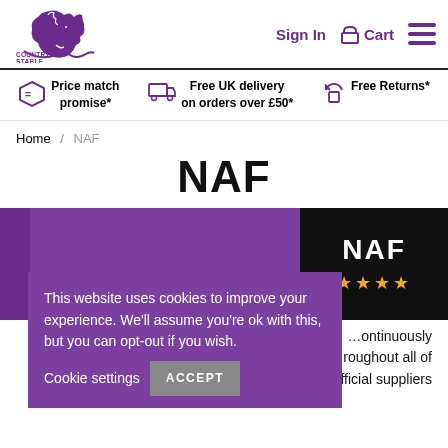Country & Stable | Sign In | Cart
Price match promise*  Free UK delivery on orders over £50*  Free Returns*
Home / NAF
NAF
[Figure (screenshot): NAF brand banner: purple background on left, black background on right with NAF text and gold stars]
This website uses cookies to improve your experience. We'll assume you're ok with this, but you can opt-out if you wish.  Cookie settings  ACCEPT
...continuously ...roughout all of their horse care products and are the official suppliers